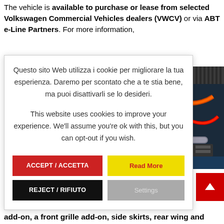The vehicle is available to purchase or lease from selected Volkswagen Commercial Vehicles dealers (VWCV) or via ABT e-Line Partners. For more information,
Transporter will Poland, Spain,
Questo sito Web utilizza i cookie per migliorare la tua esperienza. Daremo per scontato che a te stia bene, ma puoi disattivarli se lo desideri.

This website uses cookies to improve your experience. We'll assume you're ok with this, but you can opt-out if you wish.
[Figure (photo): Close-up photo of a car engine bay showing colorful cables and mechanical components]
the world' a front skirt
add-on, a front grille add-on, side skirts, rear wing and